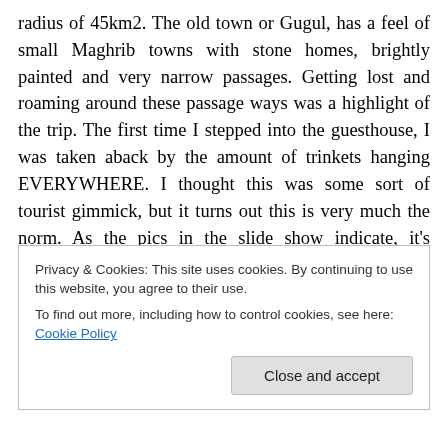radius of 45km2. The old town or Gugul, has a feel of small Maghrib towns with stone homes, brightly painted and very narrow passages. Getting lost and roaming around these passage ways was a highlight of the trip. The first time I stepped into the guesthouse, I was taken aback by the amount of trinkets hanging EVERYWHERE. I thought this was some sort of tourist gimmick, but it turns out this is very much the norm. As the pics in the slide show indicate, it's customary to hang or display every piece of kitchen ware on the walls and built-in shelfs in the living room area. Decoration meets functionality. It
Privacy & Cookies: This site uses cookies. By continuing to use this website, you agree to their use.
To find out more, including how to control cookies, see here: Cookie Policy
Close and accept